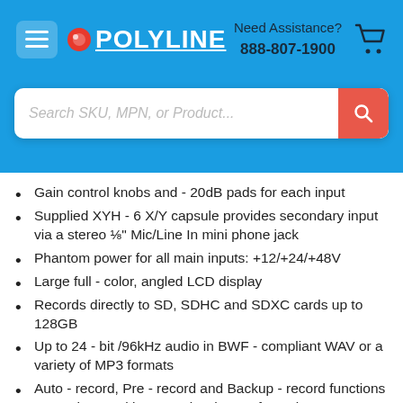POLYLINE | Need Assistance? 888-807-1900
[Figure (other): Search bar with placeholder text 'Search SKU, MPN, or Product...' and a red search button]
Gain control knobs and - 20dB pads for each input
Supplied XYH - 6 X/Y capsule provides secondary input via a stereo ⅛" Mic/Line In mini phone jack
Phantom power for all main inputs: +12/+24/+48V
Large full - color, angled LCD display
Records directly to SD, SDHC and SDXC cards up to 128GB
Up to 24 - bit /96kHz audio in BWF - compliant WAV or a variety of MP3 formats
Auto - record, Pre - record and Backup - record functions mean that you'l l never miss that perfect take
Built - in effects, including low - cut filtering, compression, and limiting
Multichannel and stereo USB audio interface for